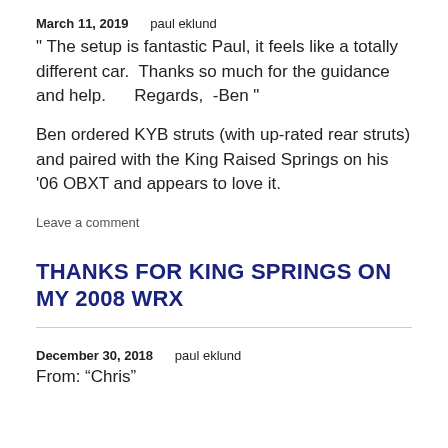March 11, 2019     paul eklund
" The setup is fantastic Paul, it feels like a totally different car.  Thanks so much for the guidance and help.      Regards,  -Ben "
Ben ordered KYB struts (with up-rated rear struts) and paired with the King Raised Springs on his '06 OBXT and appears to love it.
Leave a comment
THANKS FOR KING SPRINGS ON MY 2008 WRX
December 30, 2018     paul eklund
From: “Chris”